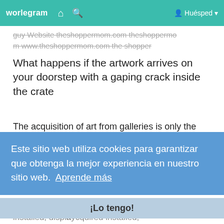worlegram  🏠  🔍  Huésped ▾
guy Website theshoppermom.com theshoppermom www.theshoppermom.com the shopper
What happens if the artwork arrives on your doorstep with a gaping crack inside the crate
The acquisition of art from galleries is only the beginning. You have to travel from the artist's studio to the gallery to the client's home and is.
Este sitio web utiliza cookies para garantizar que obtenga la mejor experiencia en nuestro sitio web.  Aprende más
¡Lo tengo!
installed, displayed acquired installed, displayed and purchased, the piece is now on its